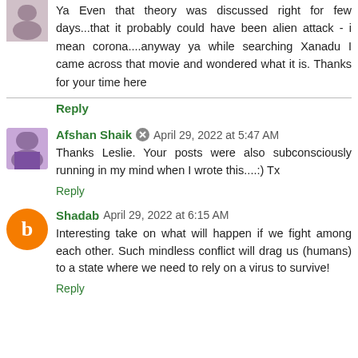Ya Even that theory was discussed right for few days...that it probably could have been alien attack - i mean corona....anyway ya while searching Xanadu I came across that movie and wondered what it is. Thanks for your time here
Reply
Afshan Shaik  April 29, 2022 at 5:47 AM
Thanks Leslie. Your posts were also subconsciously running in my mind when I wrote this....:) Tx
Reply
Shadab  April 29, 2022 at 6:15 AM
Interesting take on what will happen if we fight among each other. Such mindless conflict will drag us (humans) to a state where we need to rely on a virus to survive!
Reply